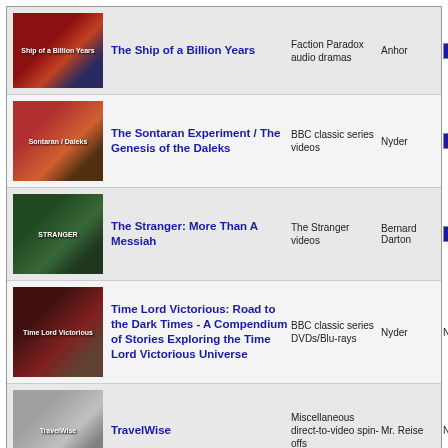| Title | Category | User | Rating |
| --- | --- | --- | --- |
| The Ship of a Billion Years | Faction Paradox audio dramas | Anhor | 8 |
| The Sontaran Experiment / The Genesis of the Daleks | BBC classic series videos | Nyder | 8.4 |
| The Stranger: More Than A Messiah | The Stranger videos | Bernard Darton | 7.1 |
| Time Lord Victorious: Road to the Dark Times - A Compendium of Stories Exploring the Time Lord Victorious Universe | BBC classic series DVDs/Blu-rays | Nyder | None |
| TravelWise | Miscellaneous direct-to-video spin-offs | Mr. Reise | None |
| Zygons: Absolution / Krynoids: The Root of All Evil | BBV Audio Adventures in Time and Space | Christopher Shaw | 6.3 |
← Go back